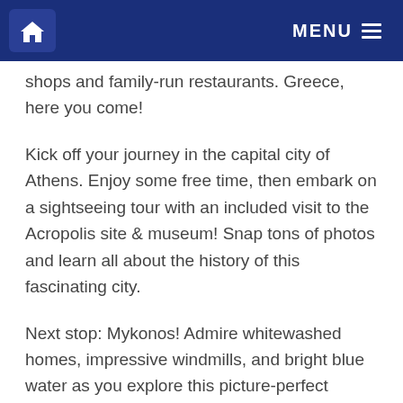HOME | MENU
shops and family-run restaurants. Greece, here you come!
Kick off your journey in the capital city of Athens. Enjoy some free time, then embark on a sightseeing tour with an included visit to the Acropolis site & museum! Snap tons of photos and learn all about the history of this fascinating city.
Next stop: Mykonos! Admire whitewashed homes, impressive windmills, and bright blue water as you explore this picture-perfect island. Soak up the sun on pristine beaches, dine at colorful restaurants along “Little Venice,” and gawk at amazing architecture. Be sure to check out Mykonos’ world-